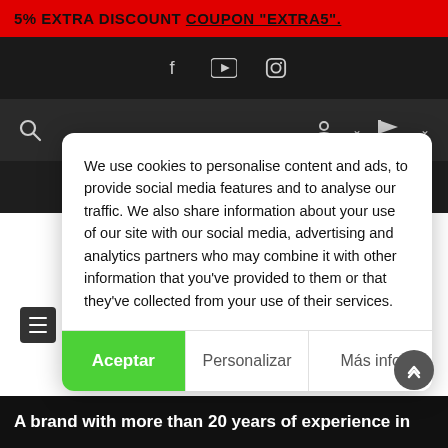5% EXTRA DISCOUNT COUPON "EXTRA5".
[Figure (screenshot): Social media icons bar (Facebook, YouTube, Instagram) on black background]
[Figure (screenshot): Navigation bar with search icon, user account icon, and flag/language selector on dark background]
[Figure (logo): Modinapiel brand logo in white italic bold text on dark background with registered trademark symbol]
We use cookies to personalise content and ads, to provide social media features and to analyse our traffic. We also share information about your use of our site with our social media, advertising and analytics partners who may combine it with other information that you've provided to them or that they've collected from your use of their services.
Aceptar | Personalizar | Más info
A brand with more than 20 years of experience in